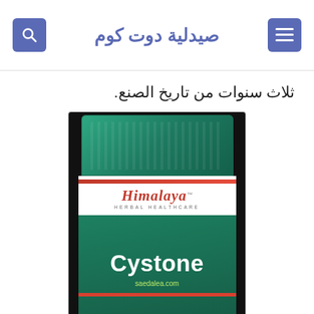صيدلية دوت كوم
ثلاث سنوات من تاريخ الصنع.
[Figure (photo): A bottle of Himalaya Herbal Healthcare Cystone tablets with a teal/green cap, white body with red stripe, and green label with Cystone branding. Watermark 'saedalea.com' visible.]